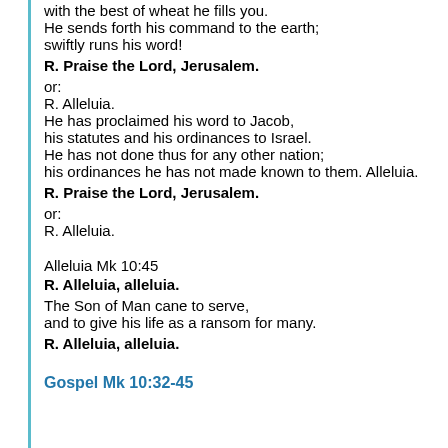with the best of wheat he fills you.
He sends forth his command to the earth;
swiftly runs his word!
R. Praise the Lord, Jerusalem.
or:
R. Alleluia.
He has proclaimed his word to Jacob,
his statutes and his ordinances to Israel.
He has not done thus for any other nation;
his ordinances he has not made known to them. Alleluia.
R. Praise the Lord, Jerusalem.
or:
R. Alleluia.
Alleluia Mk 10:45
R. Alleluia, alleluia.
The Son of Man cane to serve,
and to give his life as a ransom for many.
R. Alleluia, alleluia.
Gospel Mk 10:32-45